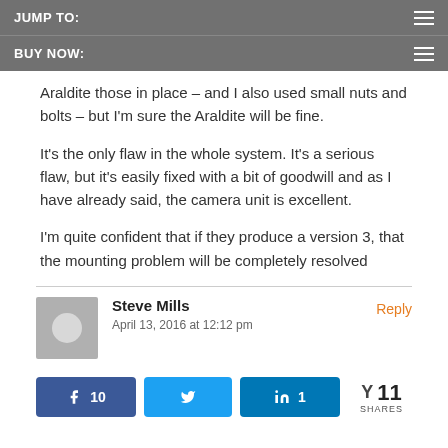JUMP TO:
BUY NOW:
Araldite those in place – and I also used small nuts and bolts – but I'm sure the Araldite will be fine.
It's the only flaw in the whole system. It's a serious flaw, but it's easily fixed with a bit of goodwill and as I have already said, the camera unit is excellent.
I'm quite confident that if they produce a version 3, that the mounting problem will be completely resolved
Steve Mills
April 13, 2016 at 12:12 pm
Reply